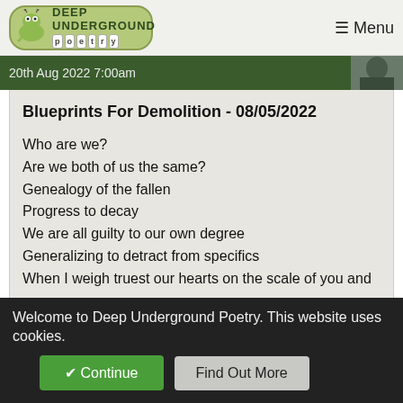Deep Underground Poetry — Menu
20th Aug 2022 7:00am
Blueprints For Demolition - 08/05/2022
Who are we?
Are we both of us the same?
Genealogy of the fallen
Progress to decay
We are all guilty to our own degree
Generalizing to detract from specifics
When I weigh truest our hearts on the scale of you and me
#lust  #father  #porn  #addiction  #morality
Read Poem
Welcome to Deep Underground Poetry. This website uses cookies.
✔ Continue   Find Out More